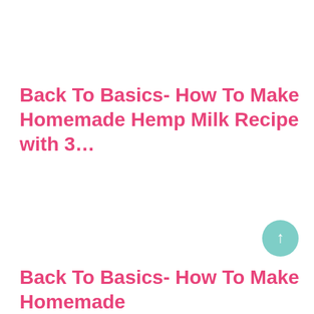Back To Basics- How To Make Homemade Hemp Milk Recipe with 3…
[Figure (other): Circular teal/mint scroll-to-top button with an upward arrow icon]
Back To Basics- How To Make Homemade